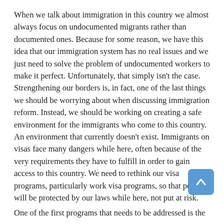When we talk about immigration in this country we almost always focus on undocumented migrants rather than documented ones. Because for some reason, we have this idea that our immigration system has no real issues and we just need to solve the problem of undocumented workers to make it perfect. Unfortunately, that simply isn't the case. Strengthening our borders is, in fact, one of the last things we should be worrying about when discussing immigration reform. Instead, we should be working on creating a safe environment for the immigrants who come to this country. An environment that currently doesn't exist. Immigrants on visas face many dangers while here, often because of the very requirements they have to fulfill in order to gain access to this country. We need to rethink our visa programs, particularly work visa programs, so that people will be protected by our laws while here, not put at risk.
One of the first programs that needs to be addressed is the